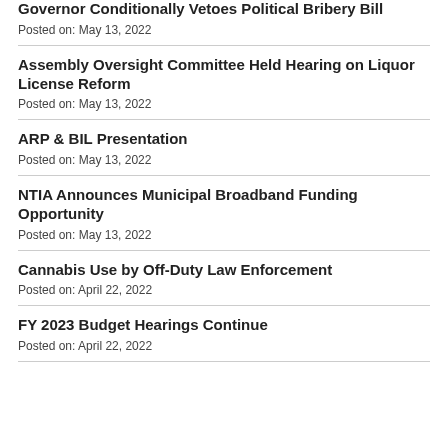Governor Conditionally Vetoes Political Bribery Bill
Posted on: May 13, 2022
Assembly Oversight Committee Held Hearing on Liquor License Reform
Posted on: May 13, 2022
ARP & BIL Presentation
Posted on: May 13, 2022
NTIA Announces Municipal Broadband Funding Opportunity
Posted on: May 13, 2022
Cannabis Use by Off-Duty Law Enforcement
Posted on: April 22, 2022
FY 2023 Budget Hearings Continue
Posted on: April 22, 2022